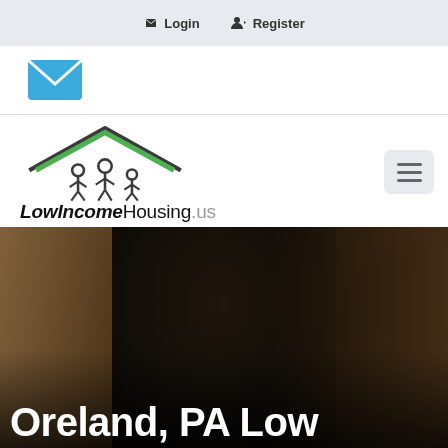Login  Register
[Figure (logo): Email/newsletter icon - blue envelope]
[Figure (logo): LowIncomeHousing.us website logo with house and people icon in black and green]
[Figure (photo): Dark close-up photo of two or three children, used as hero banner background]
Oreland, PA Low